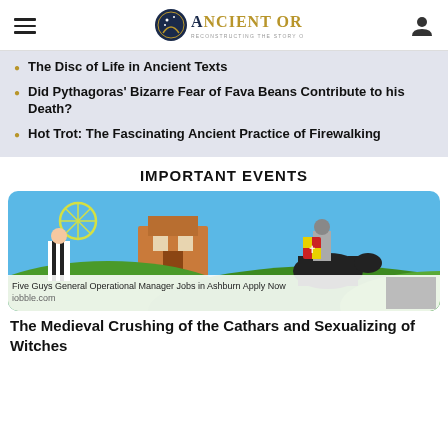Ancient Origins — Reconstructing the story of humanity's past
The Disc of Life in Ancient Texts
Did Pythagoras' Bizarre Fear of Fava Beans Contribute to his Death?
Hot Trot: The Fascinating Ancient Practice of Firewalking
IMPORTANT EVENTS
[Figure (illustration): Colorful medieval illustration showing a figure in black and white striped clothing and a knight in armor on horseback with a red and yellow shield, against a bright blue sky with rolling green hills and a building in the background.]
Five Guys General Operational Manager Jobs in Ashburn Apply Now
iobble.com
The Medieval Crushing of the Cathars and Sexualizing of Witches